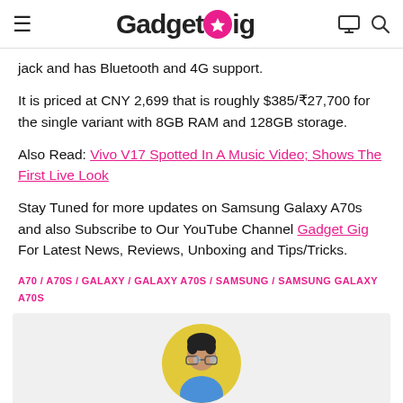GadgetGig
jack and has Bluetooth and 4G support.
It is priced at CNY 2,699 that is roughly $385/₹27,700 for the single variant with 8GB RAM and 128GB storage.
Also Read: Vivo V17 Spotted In A Music Video; Shows The First Live Look
Stay Tuned for more updates on Samsung Galaxy A70s and also Subscribe to Our YouTube Channel Gadget Gig For Latest News, Reviews, Unboxing and Tips/Tricks.
A70 / A70S / GALAXY / GALAXY A70S / SAMSUNG / SAMSUNG GALAXY A70S
[Figure (photo): Author avatar photo in a circular yellow frame, partially visible at bottom of page]